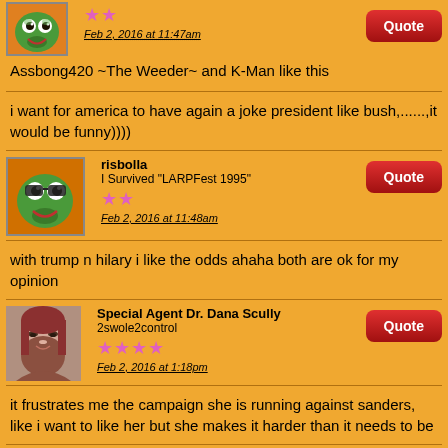Feb 2, 2016 at 11:47am
Assbong420 ~The Weeder~ and K-Man like this
i want for america to have again a joke president like bush,......,it would be funny))))
risbolla
I Survived "LARPFest 1995"
Feb 2, 2016 at 11:48am
with trump n hilary i like the odds ahaha both are ok for my opinion
Special Agent Dr. Dana Scully
2swole2control
Feb 2, 2016 at 1:18pm
it frustrates me the campaign she is running against sanders, like i want to like her but she makes it harder than it needs to be
Special Agent Dr. Dana Scully
2swole2control
Feb 2, 2016 at 1:19pm